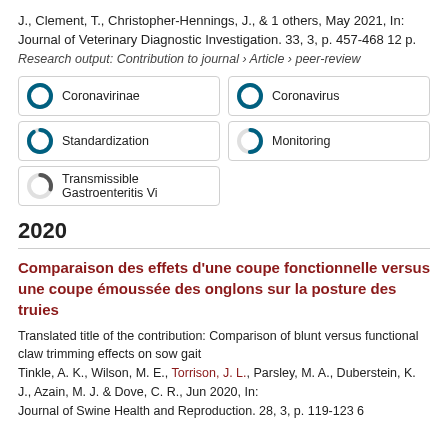J., Clement, T., Christopher-Hennings, J., & 1 others, May 2021, In: Journal of Veterinary Diagnostic Investigation. 33, 3, p. 457-468 12 p.
Research output: Contribution to journal › Article › peer-review
[Figure (infographic): Five keyword badges with donut/ring percentage icons: Coronavirinae (100%), Coronavirus (100%), Standardization (90%), Monitoring (50%), Transmissible Gastroenteritis Vi (30%)]
2020
Comparaison des effets d'une coupe fonctionnelle versus une coupe émoussée des onglons sur la posture des truies
Translated title of the contribution: Comparison of blunt versus functional claw trimming effects on sow gait
Tinkle, A. K., Wilson, M. E., Torrison, J. L., Parsley, M. A., Duberstein, K. J., Azain, M. J. & Dove, C. R., Jun 2020, In: Journal of Swine Health and Reproduction. 28, 3, p. 119-123 6